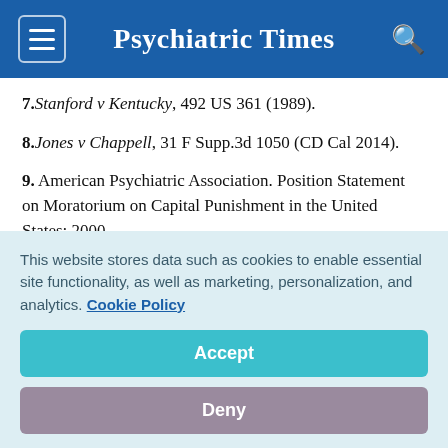Psychiatric Times
7. Stanford v Kentucky, 492 US 361 (1989).
8. Jones v Chappell, 31 F Supp.3d 1050 (CD Cal 2014).
9. American Psychiatric Association. Position Statement on Moratorium on Capital Punishment in the United States; 2000.
10. American Psychological Association. The Death
This website stores data such as cookies to enable essential site functionality, as well as marketing, personalization, and analytics. Cookie Policy
Accept
Deny